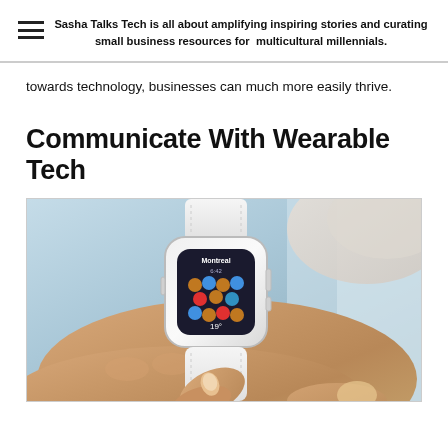Sasha Talks Tech is all about amplifying inspiring stories and curating small business resources for multicultural millennials.
towards technology, businesses can much more easily thrive.
Communicate With Wearable Tech
[Figure (photo): A person's wrist wearing an Apple Watch (white band), with another hand's finger touching the watch screen which displays a weather app showing Montreal and 19 degrees.]